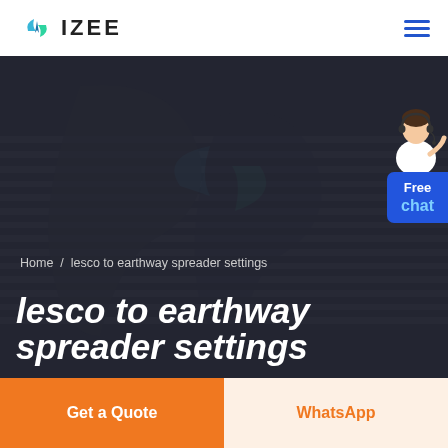[Figure (logo): IZEE brand logo with blue/teal leaf icon and bold IZEE text]
[Figure (screenshot): Website hero banner with dark overlay on a striped background image. Shows breadcrumb 'Home / lesco to earthway spreader settings' and bold italic white title 'lesco to earthway spreader settings'. A 'Free chat' widget is in the top right corner with a person illustration and blue button.]
Get a Quote
WhatsApp